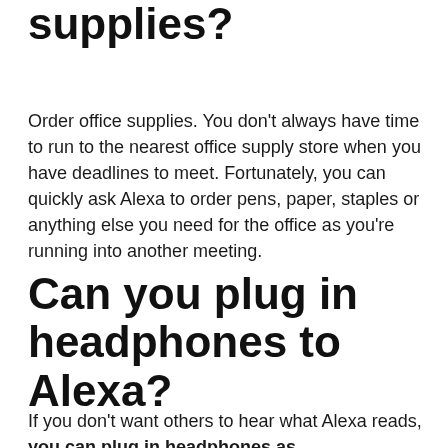supplies?
Order office supplies. You don't always have time to run to the nearest office supply store when you have deadlines to meet. Fortunately, you can quickly ask Alexa to order pens, paper, staples or anything else you need for the office as you're running into another meeting.
Can you plug in headphones to Alexa?
If you don't want others to hear what Alexa reads, you can plug in headphones as